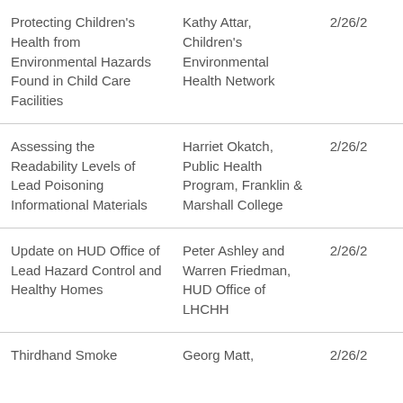| Protecting Children's Health from Environmental Hazards Found in Child Care Facilities | Kathy Attar, Children's Environmental Health Network | 2/26/2 |
| Assessing the Readability Levels of Lead Poisoning Informational Materials | Harriet Okatch, Public Health Program, Franklin & Marshall College | 2/26/2 |
| Update on HUD Office of Lead Hazard Control and Healthy Homes | Peter Ashley and Warren Friedman, HUD Office of LHCHH | 2/26/2 |
| Thirdhand Smoke ... | Georg Matt, ... | 2/26/2 |